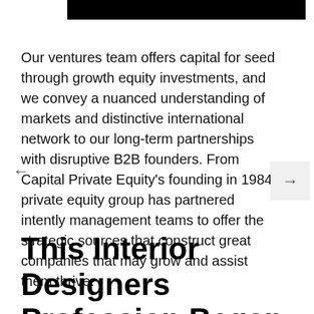Our ventures team offers capital for seed through growth equity investments, and we convey a nuanced understanding of markets and distinctive international network to our long-term partnerships with disruptive B2B founders. From Capital Private Equity's founding in 1984, private equity group has partnered intently management teams to offer the strategic sources that construct great companies that may grow and assist them thrive.
This Interior Designers Profession Began In Accounting